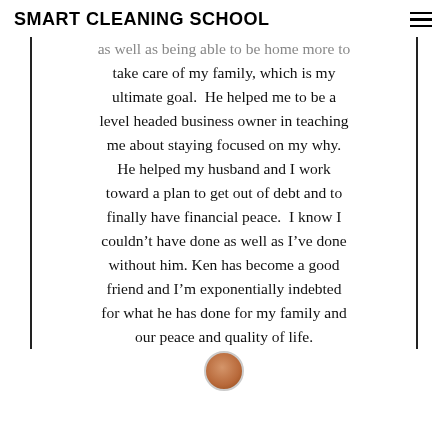SMART CLEANING SCHOOL
as well as being able to be home more to take care of my family, which is my ultimate goal.  He helped me to be a level headed business owner in teaching me about staying focused on my why.  He helped my husband and I work toward a plan to get out of debt and to finally have financial peace.  I know I couldn't have done as well as I've done without him. Ken has become a good friend and I'm exponentially indebted for what he has done for my family and our peace and quality of life.
[Figure (photo): Partial circular avatar photo of a person at the bottom of the testimonial block]